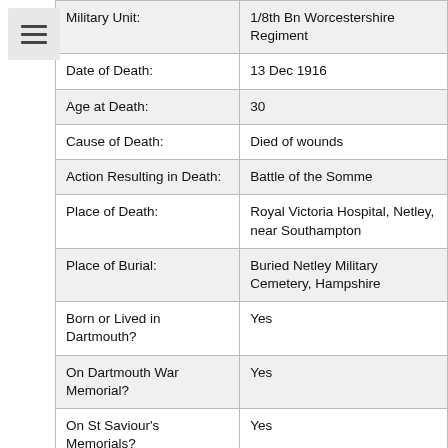| Field | Value |
| --- | --- |
| Military Unit: | 1/8th Bn Worcestershire Regiment |
| Date of Death: | 13 Dec 1916 |
| Age at Death: | 30 |
| Cause of Death: | Died of wounds |
| Action Resulting in Death: | Battle of the Somme |
| Place of Death: | Royal Victoria Hospital, Netley, near Southampton |
| Place of Burial: | Buried Netley Military Cemetery, Hampshire |
| Born or Lived in Dartmouth? | Yes |
| On Dartmouth War Memorial? | Yes |
| On St Saviour's Memorials? | Yes |
| On St Petrox Memorials? | No |
| On Flavel Church Memorials? | No |
| In Longcross Cemetery? | No |